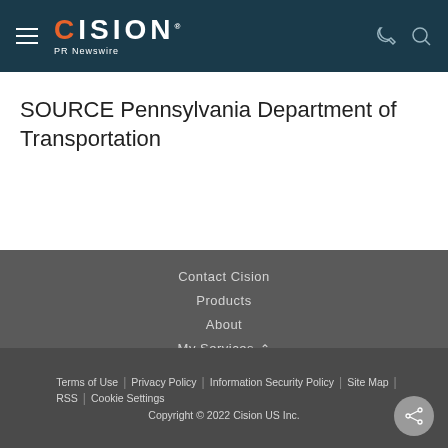CISION PR Newswire
SOURCE Pennsylvania Department of Transportation
Contact Cision
Products
About
My Services
Cision Distribution Helpline
888-776-0942
Terms of Use | Privacy Policy | Information Security Policy | Site Map | RSS | Cookie Settings
Copyright © 2022 Cision US Inc.